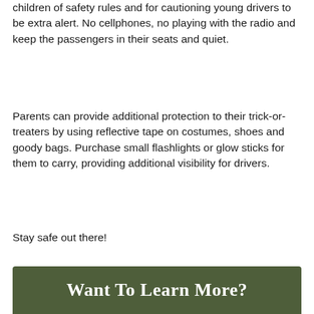children of safety rules and for cautioning young drivers to be extra alert. No cellphones, no playing with the radio and keep the passengers in their seats and quiet.
Parents can provide additional protection to their trick-or-treaters by using reflective tape on costumes, shoes and goody bags. Purchase small flashlights or glow sticks for them to carry, providing additional visibility for drivers.
Stay safe out there!
Want To Learn More?